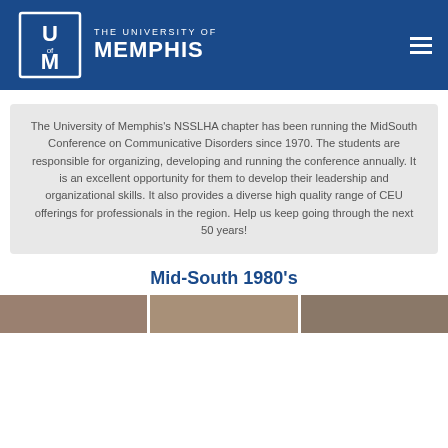The University of Memphis
The University of Memphis's NSSLHA chapter has been running the MidSouth Conference on Communicative Disorders since 1970. The students are responsible for organizing, developing and running the conference annually. It is an excellent opportunity for them to develop their leadership and organizational skills. It also provides a diverse high quality range of CEU offerings for professionals in the region. Help us keep going through the next 50 years!
Mid-South 1980's
[Figure (photo): Strip of historical photos from Mid-South 1980s conference]